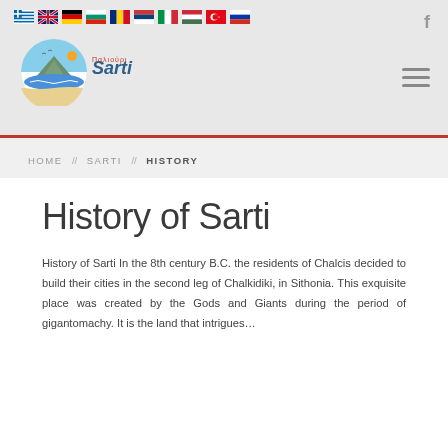Navigation flags and header bar with Sarti logo
HOME // SARTI // HISTORY
History of Sarti
History of Sarti In the 8th century B.C. the residents of Chalcis decided to build their cities in the second leg of Chalkidiki, in Sithonia. This exquisite place was created by the Gods and Giants during the period of gigantomachy. It is the land that intrigues...